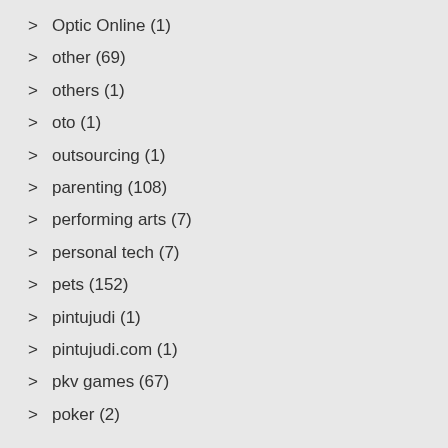Optic Online (1)
other (69)
others (1)
oto (1)
outsourcing (1)
parenting (108)
performing arts (7)
personal tech (7)
pets (152)
pintujudi (1)
pintujudi.com (1)
pkv games (67)
poker (2)